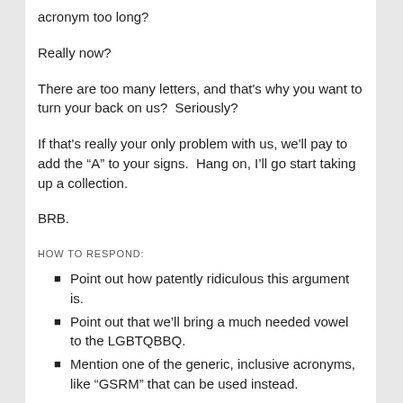acronym too long?
Really now?
There are too many letters, and that's why you want to turn your back on us?  Seriously?
If that's really your only problem with us, we'll pay to add the “A” to your signs.  Hang on, I’ll go start taking up a collection.
BRB.
HOW TO RESPOND:
Point out how patently ridiculous this argument is.
Point out that we’ll bring a much needed vowel to the LGBTQBBQ.
Mention one of the generic, inclusive acronyms, like “GSRM” that can be used instead.
You can be in a community, just not mine. [#]